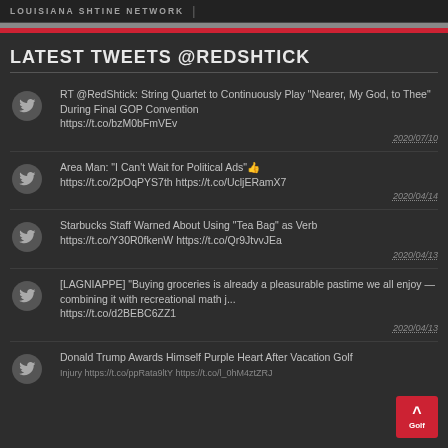LOUISIANA SHTINE NETWORK
LATEST TWEETS @REDSHTICK
RT @RedShtick: String Quartet to Continuously Play "Nearer, My God, to Thee" During Final GOP Convention https://t.co/bzM0bFmVEv 2020/07/10
Area Man: "I Can't Wait for Political Ads"👍 https://t.co/2pOqPYS7th https://t.co/UcljERamX7 2020/04/14
Starbucks Staff Warned About Using “Tea Bag” as Verb https://t.co/Y30R0fkenW https://t.co/Qr9JtvvJEa 2020/04/13
[LAGNIAPPE] "Buying groceries is already a pleasurable pastime we all enjoy — combining it with recreational math j... https://t.co/d2BEBC6ZZ1 2020/04/13
Donald Trump Awards Himself Purple Heart After Vacation Golf Injury https://t.co/ppRata9ltY https://t.co/l_0hM4ztZRJ